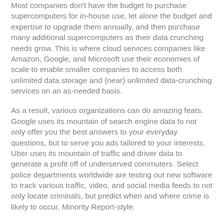Most companies don't have the budget to purchase supercomputers for in-house use, let alone the budget and expertise to upgrade them annually, and then purchase many additional supercomputers as their data crunching needs grow. This is where cloud services companies like Amazon, Google, and Microsoft use their economies of scale to enable smaller companies to access both unlimited data storage and (near) unlimited data-crunching services on an as-needed basis.
As a result, various organizations can do amazing feats. Google uses its mountain of search engine data to not only offer you the best answers to your everyday questions, but to serve you ads tailored to your interests. Uber uses its mountain of traffic and driver data to generate a profit off of underserved commuters. Select police departments worldwide are testing out new software to track various traffic, video, and social media feeds to not only locate criminals, but predict when and where crime is likely to occur, Minority Report-style.